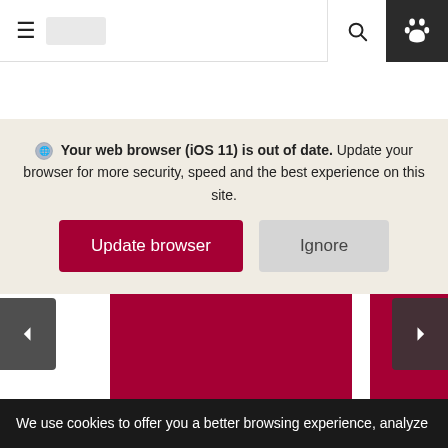☰ [logo] 🔍 🐾
Your web browser (iOS 11) is out of date. Update your browser for more security, speed and the best experience on this site.
[Figure (screenshot): Two buttons: 'Update browser' (dark red) and 'Ignore' (gray)]
[Figure (photo): Dark red/crimson image blocks behind browser update overlay, with left and right carousel navigation arrows]
We use cookies to offer you a better browsing experience, analyze